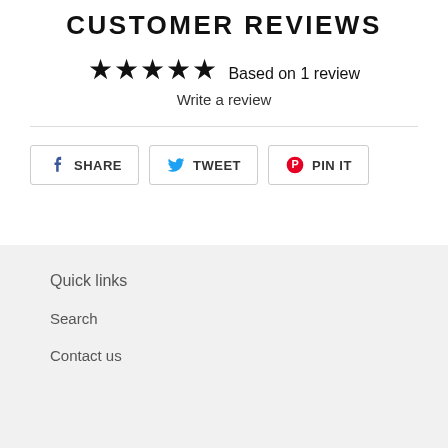CUSTOMER REVIEWS
★★★★★ Based on 1 review
Write a review
SHARE   TWEET   PIN IT
Quick links
Search
Contact us